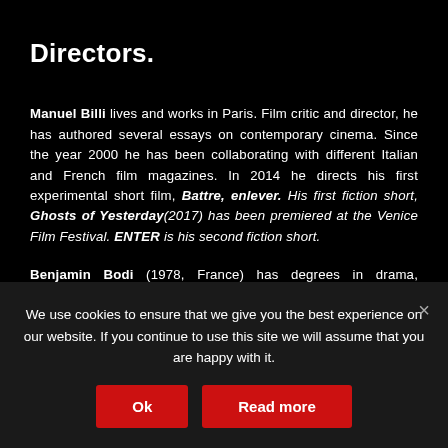Directors.
Manuel Billi lives and works in Paris. Film critic and director, he has authored several essays on contemporary cinema. Since the year 2000 he has been collaborating with different Italian and French film magazines. In 2014 he directs his first experimental short film, Battre, enlever. His first fiction short, Ghosts of Yesterday(2017) has been premiered at the Venice Film Festival. ENTER is his second fiction short.
Benjamin Bodi (1978, France) has degrees in drama, performance and photography. At the age of 22, he joined WAX, a Parisian collective of artists imbued with free jazz and surrealism. Two years later, as a programmer, he joined the management of Théâtre 347 in Paris and also worked as a public relation at the Comédie Française. From 2000 to 2012, he performed theater,
We use cookies to ensure that we give you the best experience on our website. If you continue to use this site we will assume that you are happy with it.